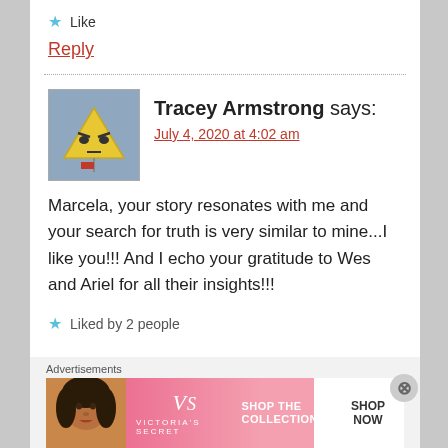★ Like
Reply
Tracey Armstrong says:
July 4, 2020 at 4:02 am
[Figure (illustration): Avatar image of Tracey Armstrong - cartoon character with triangular face on blue-grey background]
Marcela, your story resonates with me and your search for truth is very similar to mine...I like you!!! And I echo your gratitude to Wes and Ariel for all their insights!!!
★ Liked by 2 people
Advertisements
[Figure (photo): Victoria's Secret advertisement banner - SHOP THE COLLECTION, SHOP NOW]